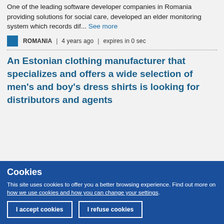One of the leading software developer companies in Romania providing solutions for social care, developed an elder monitoring system which records dif... See more
ROMANIA | 4 years ago | expires in 0 sec
An Estonian clothing manufacturer that specializes and offers a wide selection of men's and boy's dress shirts is looking for distributors and agents
Cookies
This site uses cookies to offer you a better browsing experience. Find out more on how we use cookies and how you can change your settings.
I accept cookies
I refuse cookies